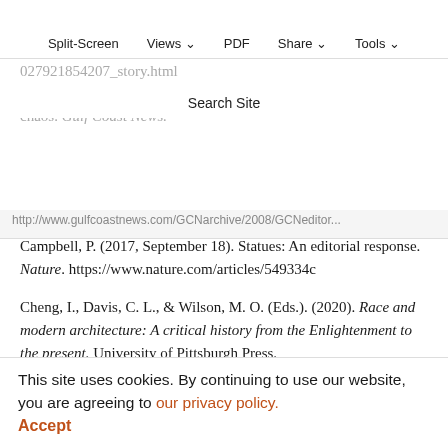Split-Screen | Views | PDF | Share | Tools
Search Site
Burton, K. (2008, April 26). Gulfport government in chaos. Gulf Coast News.
http://www.gulfcoastnews.com/GCNarchive/2008/GCNeditor...
Campbell, P. (2017, September 18). Statues: An editorial response. Nature. https://www.nature.com/articles/549334c
Cheng, I., Davis, C. L., & Wilson, M. O. (Eds.). (2020). Race and modern architecture: A critical history from the Enlightenment to the present. University of Pittsburgh Press.
Cheryan, S., Plaut, V. C., Davies, P. G., & Steele, C. M. (2009). Ambient belonging: How stereotypical cues...
This site uses cookies. By continuing to use our website, you are agreeing to our privacy policy. Accept https://doi.org/10.1037/a0016230